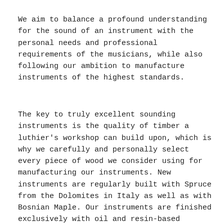We aim to balance a profound understanding for the sound of an instrument with the personal needs and professional requirements of the musicians, while also following our ambition to manufacture instruments of the highest standards.
The key to truly excellent sounding instruments is the quality of timber a luthier's workshop can build upon, which is why we carefully and personally select every piece of wood we consider using for manufacturing our instruments. New instruments are regularly built with Spruce from the Dolomites in Italy as well as with Bosnian Maple. Our instruments are finished exclusively with oil and resin-based varnishes we have mixed from our own recipes.